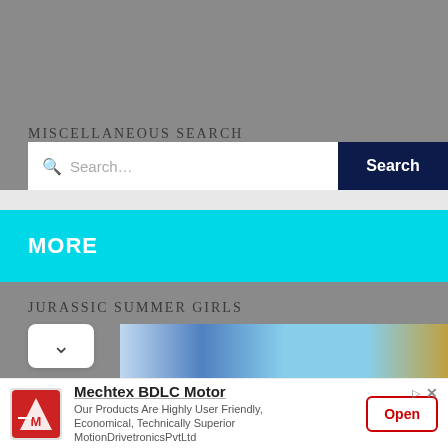MISCELLANEOUS SEARCH
[Figure (screenshot): Search input box with placeholder text 'Search...' and a dark navy 'Search' button]
MORE
JURASSIC SUMMER GIRLS
[Figure (photo): Partial outdoor scene with blue sky, clouds, and a sail — cropped at bottom with chevron/down arrow button overlay]
[Figure (infographic): Advertisement banner: Mechtex BDLC Motor logo, title 'Mechtex BDLC Motor', body text 'Our Products Are Highly User Friendly, Economical, Technically Superior MotionDrivetronicsPvtLtd', and red 'Open' button]